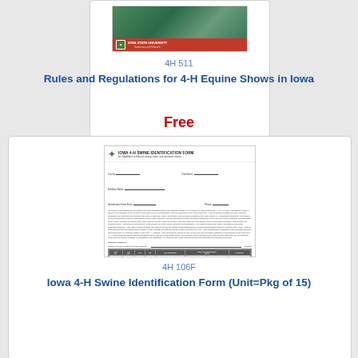[Figure (illustration): Thumbnail of Iowa State University 4-H publication cover showing horses/equine with red ISU branding bar at bottom]
4H 511
Rules and Regulations for 4-H Equine Shows in Iowa
Free
[Figure (illustration): Preview of Iowa 4-H Swine Identification Form document with form fields and table]
4H 106F
Iowa 4-H Swine Identification Form (Unit=Pkg of 15)